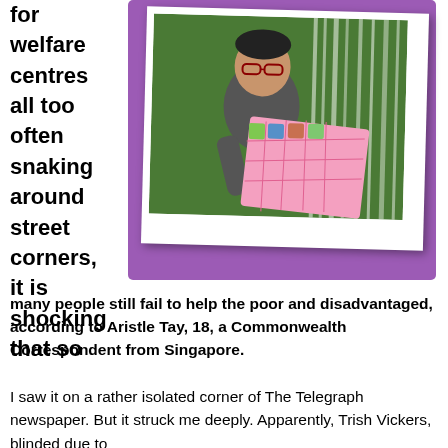for welfare centres all too often snaking around street corners, it is shocking that so
[Figure (photo): Young man wearing glasses holding a large pink board/poster, standing in front of a waterfall, in a polaroid-style frame with purple background]
many people still fail to help the poor and disadvantaged, according to Aristle Tay, 18, a Commonwealth Correspondent from Singapore.
I saw it on a rather isolated corner of The Telegraph newspaper. But it struck me deeply. Apparently, Trish Vickers, blinded due to